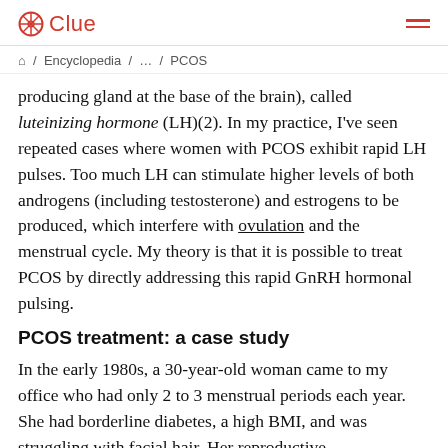Clue
🏠 / Encyclopedia / … / PCOS
producing gland at the base of the brain), called luteinizing hormone (LH)(2). In my practice, I've seen repeated cases where women with PCOS exhibit rapid LH pulses. Too much LH can stimulate higher levels of both androgens (including testosterone) and estrogens to be produced, which interfere with ovulation and the menstrual cycle. My theory is that it is possible to treat PCOS by directly addressing this rapid GnRH hormonal pulsing.
PCOS treatment: a case study
In the early 1980s, a 30-year-old woman came to my office who had only 2 to 3 menstrual periods each year. She had borderline diabetes, a high BMI, and was struggling with facial hair. Her reproductive